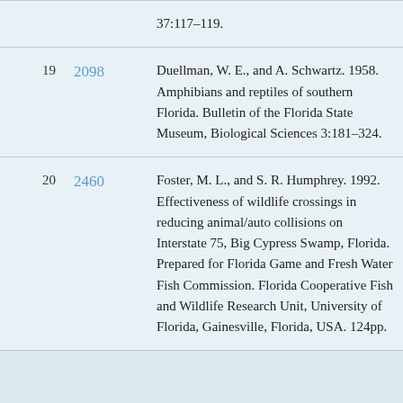| # | ID | Reference |
| --- | --- | --- |
|  |  | 37:117–119. |
| 19 | 2098 | Duellman, W. E., and A. Schwartz. 1958. Amphibians and reptiles of southern Florida. Bulletin of the Florida State Museum, Biological Sciences 3:181–324. |
| 20 | 2460 | Foster, M. L., and S. R. Humphrey. 1992. Effectiveness of wildlife crossings in reducing animal/auto collisions on Interstate 75, Big Cypress Swamp, Florida. Prepared for Florida Game and Fresh Water Fish Commission. Florida Cooperative Fish and Wildlife Research Unit, University of Florida, Gainesville, Florida, USA. 124pp. |